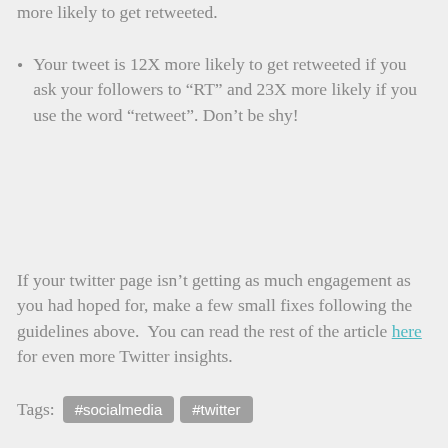more likely to get retweeted.
Your tweet is 12X more likely to get retweeted if you ask your followers to “RT” and 23X more likely if you use the word “retweet”. Don’t be shy!
If your twitter page isn’t getting as much engagement as you had hoped for, make a few small fixes following the guidelines above.  You can read the rest of the article here for even more Twitter insights.
Tags:  #socialmedia  #twitter